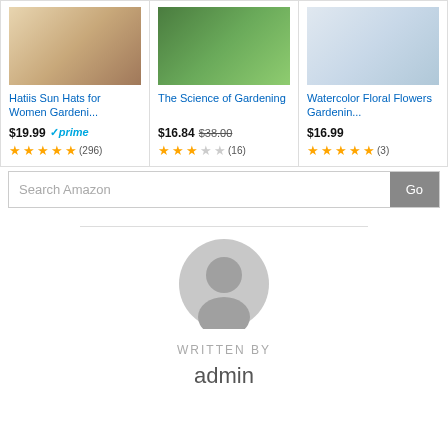[Figure (screenshot): Amazon product listing row showing three gardening products: Hatiis Sun Hats for Women Gardening ($19.99, Prime, 4.5 stars, 296 reviews), The Science of Gardening ($16.84 orig $38.00, 3 stars, 16 reviews), Watercolor Floral Flowers Gardening ($16.99, 4.5 stars, 3 reviews)]
Search Amazon
[Figure (illustration): Generic user avatar icon in gray]
WRITTEN BY
admin